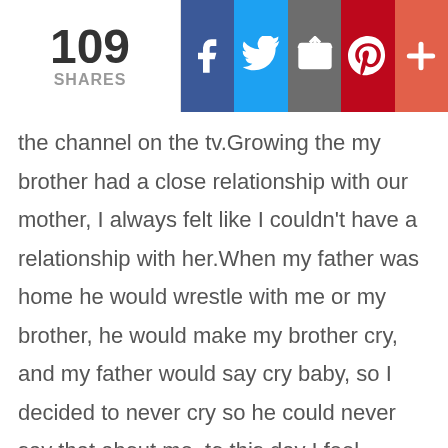109 SHARES
the channel on the tv.Growing the my brother had a close relationship with our mother, I always felt like I couldn't have a relationship with her.When my father was home he would wrestle with me or my brother, he would make my brother cry, and my father would say cry baby, so I decided to never cry so he could never say that about me, to this day I feel ashamed to cry and avoid letting anyone see me do so.
I'm beginning to do the exercises in the book, though trying to figure out how I feel is hard and confusing, sometimes all